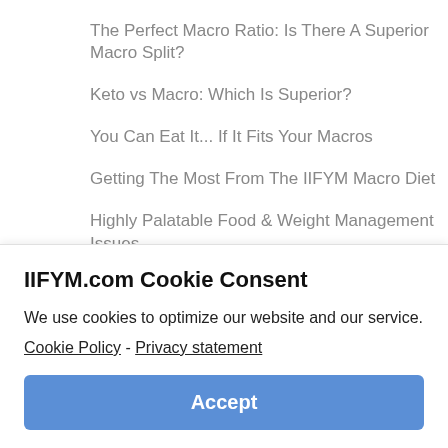The Perfect Macro Ratio: Is There A Superior Macro Split?
Keto vs Macro: Which Is Superior?
You Can Eat It... If It Fits Your Macros
Getting The Most From The IIFYM Macro Diet
Highly Palatable Food & Weight Management Issues
How To Count Your Macros | Using the Macro…
IIFYM.com Cookie Consent
We use cookies to optimize our website and our service.
Cookie Policy - Privacy statement
Accept